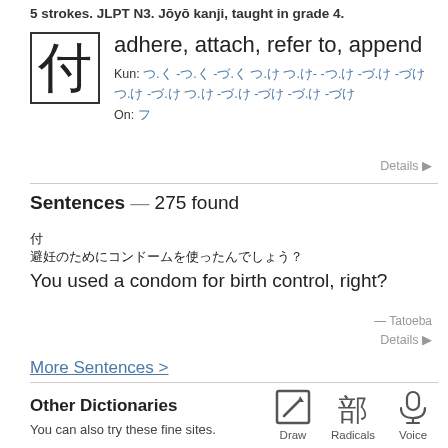5 strokes. JLPT N3. Jōyō kanji, taught in grade 4.
[Figure (illustration): Kanji character displayed in a bordered box]
adhere, attach, refer to, append
Kun: [Japanese readings listed as links]
On: [Japanese reading listed as link]
Details ▶
Sentences — 275 found
[Japanese sentence - short]
[Japanese sentence - long]
You used a condom for birth control, right?
— Tatoeba
Details ▶
More Sentences >
Other Dictionaries
You can also try these fine sites.
[Figure (illustration): Draw, Radicals, and Voice icons]